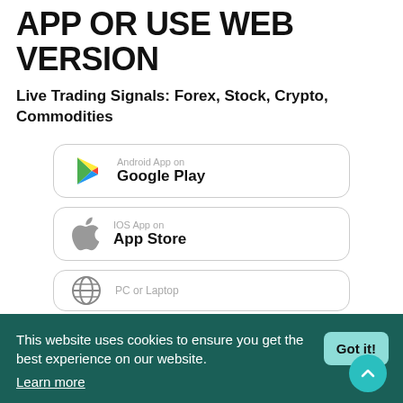APP OR USE WEB VERSION
Live Trading Signals: Forex, Stock, Crypto, Commodities
[Figure (screenshot): Google Play store download button with Play Store triangle logo]
[Figure (screenshot): iOS App Store download button with Apple logo]
[Figure (screenshot): PC or Laptop web version button with globe icon (partially visible)]
This website uses cookies to ensure you get the best experience on our website. Learn more
Got it!